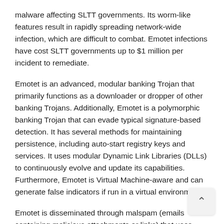malware affecting SLTT governments. Its worm-like features result in rapidly spreading network-wide infection, which are difficult to combat. Emotet infections have cost SLTT governments up to $1 million per incident to remediate.
Emotet is an advanced, modular banking Trojan that primarily functions as a downloader or dropper of other banking Trojans. Additionally, Emotet is a polymorphic banking Trojan that can evade typical signature-based detection. It has several methods for maintaining persistence, including auto-start registry keys and services. It uses modular Dynamic Link Libraries (DLLs) to continuously evolve and update its capabilities. Furthermore, Emotet is Virtual Machine-aware and can generate false indicators if run in a virtual environment.
Emotet is disseminated through malspam (emails containing malicious attachments or links) that uses branding familiar to the recipient; it has even been spread using the MS-ISAC name. As of July 2018, the most recent campaigns imitate PayPal receipts,